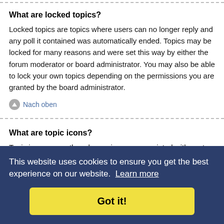What are locked topics?
Locked topics are topics where users can no longer reply and any poll it contained was automatically ended. Topics may be locked for many reasons and were set this way by either the forum moderator or board administrator. You may also be able to lock your own topics depending on the permissions you are granted by the board administrator.
Nach oben
What are topic icons?
Topic icons are author chosen images associated with posts to indicate their content. The ability to use topic icons
or.
This website uses cookies to ensure you get the best experience on our website. Learn more
Got it!
Administrators are members assigned with the highest level